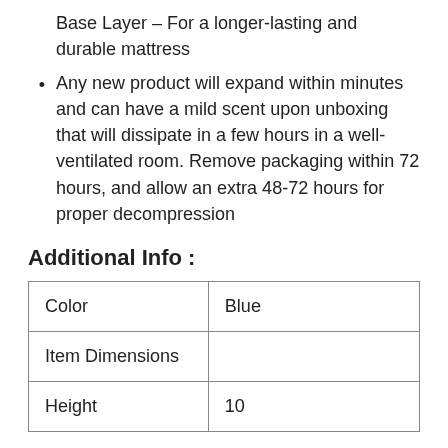Base Layer – For a longer-lasting and durable mattress
Any new product will expand within minutes and can have a mild scent upon unboxing that will dissipate in a few hours in a well-ventilated room. Remove packaging within 72 hours, and allow an extra 48-72 hours for proper decompression
Additional Info :
| Color | Blue |
| Item Dimensions |  |
| Height | 10 |